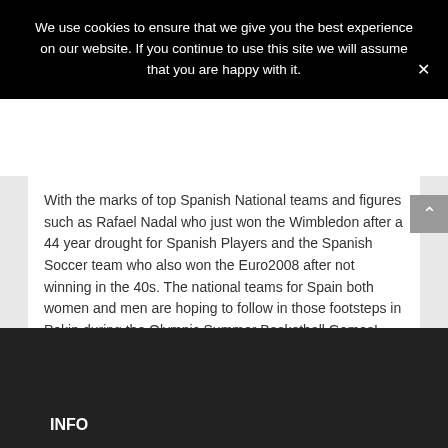We use cookies to ensure that we give you the best experience on our website. If you continue to use this site we will assume that you are happy with it.
With the marks of top Spanish National teams and figures such as Rafael Nadal who just won the Wimbledon after a 44 year drought for Spanish Players and the Spanish Soccer team who also won the Euro2008 after not winning in the 40s. The national teams for Spain both women and men are hoping to follow in those footsteps in Pekin during the Olympic Summer Basketball Games!
INFO